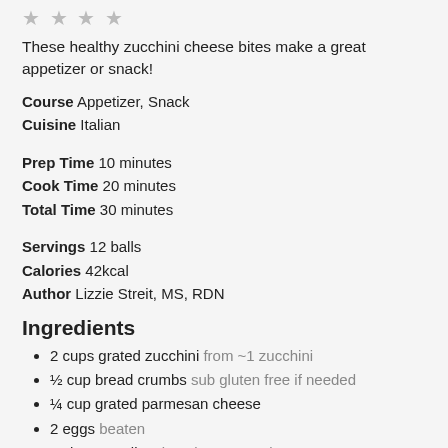[Figure (other): Four star rating icons (outline stars)]
These healthy zucchini cheese bites make a great appetizer or snack!
Course  Appetizer, Snack
Cuisine  Italian
Prep Time  10 minutes
Cook Time  20 minutes
Total Time  30 minutes
Servings  12 balls
Calories  42kcal
Author  Lizzie Streit, MS, RDN
Ingredients
2 cups grated zucchini from ~1 zucchini
½ cup bread crumbs sub gluten free if needed
¼ cup grated parmesan cheese
2 eggs beaten
2 cloves garlic minced or pressed
2 tablespoon chopped fresh basil or 2 teaspoon dried
1 tablespoon chopped fresh parsley or 1 teaspoon dried